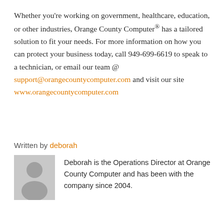Whether you're working on government, healthcare, education, or other industries, Orange County Computer® has a tailored solution to fit your needs. For more information on how you can protect your business today, call 949-699-6619 to speak to a technician, or email our team @ support@orangecountycomputer.com and visit our site www.orangecountycomputer.com
Written by deborah
[Figure (illustration): Gray placeholder avatar icon showing a silhouette of a person (head and shoulders) on a light gray background square]
Deborah is the Operations Director at Orange County Computer and has been with the company since 2004.